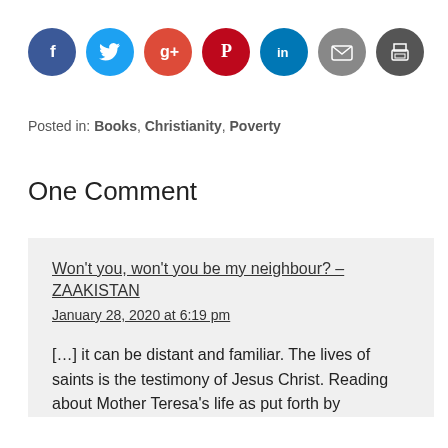[Figure (other): Row of 7 circular social media sharing icons: Facebook (dark blue), Twitter (cyan), Google+ (red-orange), Pinterest (red), LinkedIn (teal-blue), Email (gray), Print (dark gray)]
Posted in: Books, Christianity, Poverty
One Comment
Won't you, won't you be my neighbour? – ZAAKISTAN
January 28, 2020 at 6:19 pm
[…] it can be distant and familiar. The lives of saints is the testimony of Jesus Christ. Reading about Mother Teresa's life as put forth by